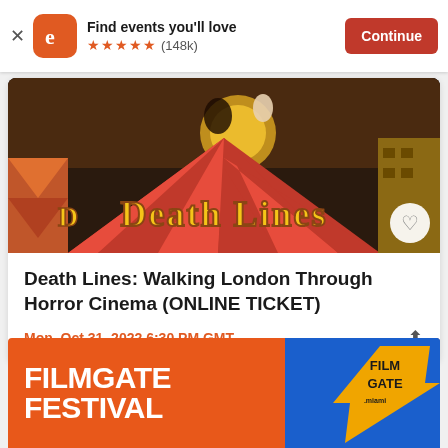Find events you'll love ★★★★★ (148k) Continue
[Figure (screenshot): Death Lines: Walking London Through Horror Cinema event banner — circus/carnival style poster with 'DEATH LINES' text in large gold/yellow letters over a red and white striped tent background with figures in the sky]
Death Lines: Walking London Through Horror Cinema (ONLINE TICKET)
Mon, Oct 31, 2022 6:30 PM GMT
[Figure (screenshot): Filmgate Festival advertisement banner — orange background on left with white bold text reading FILMGATE FESTIVAL, blue section on right with FILMGATE logo in yellow/orange on a lightning bolt shape]